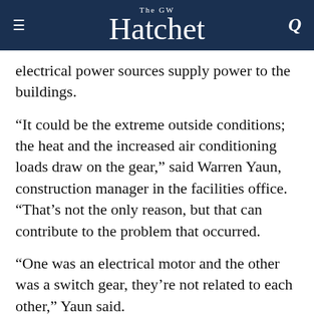The GW Hatchet
electrical power sources supply power to the buildings.
“It could be the extreme outside conditions; the heat and the increased air conditioning loads draw on the gear,” said Warren Yaun, construction manager in the facilities office. “That’s not the only reason, but that can contribute to the problem that occurred.
“One was an electrical motor and the other was a switch gear, they’re not related to each other,” Yaun said.
Power was restored Friday to the anthropology